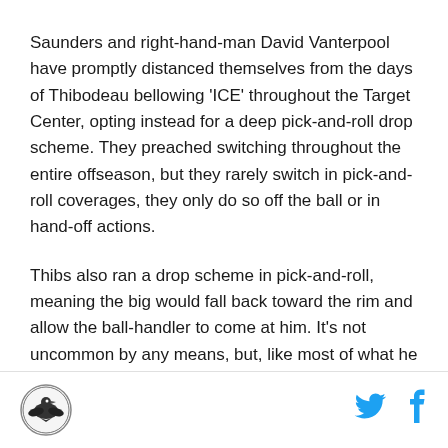Saunders and right-hand-man David Vanterpool have promptly distanced themselves from the days of Thibodeau bellowing 'ICE' throughout the Target Center, opting instead for a deep pick-and-roll drop scheme. They preached switching throughout the entire offseason, but they rarely switch in pick-and-roll coverages, they only do so off the ball or in hand-off actions.
Thibs also ran a drop scheme in pick-and-roll, meaning the big would fall back toward the rim and allow the ball-handler to come at him. It's not uncommon by any means, but, like most of what he did in Minnesota, Thibs refused to adjust to his personnel and was
[Figure (logo): Circular logo with a bird silhouette]